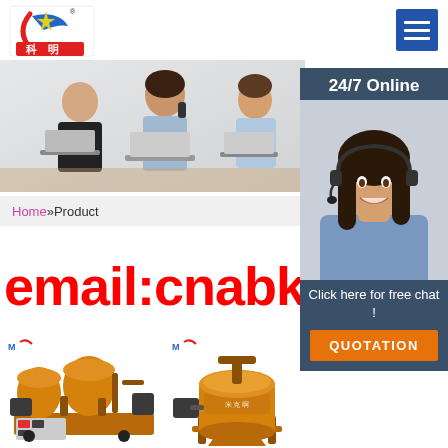[Figure (logo): Keming company logo with star graphic and Chinese characters 科明, with registered trademark symbol]
[Figure (illustration): Hamburger/menu icon button with blue background and three white horizontal lines]
[Figure (photo): Banner photo showing two women sitting at laptops in an office setting]
[Figure (infographic): 24/7 Online sidebar with photo of smiling customer service agent wearing headset, Click here for free chat text, and QUOTATION orange button]
Home »Product
email:cnabke2
[Figure (photo): Orange industrial grouting machine equipment, left product]
[Figure (photo): Orange industrial mixing/agitator machine equipment, right product]